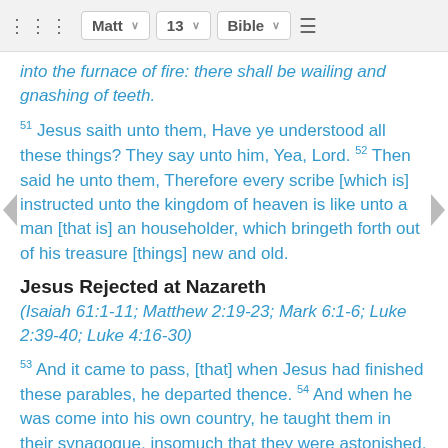Matt  13  Bible
into the furnace of fire: there shall be wailing and gnashing of teeth.
51 Jesus saith unto them, Have ye understood all these things? They say unto him, Yea, Lord. 52 Then said he unto them, Therefore every scribe [which is] instructed unto the kingdom of heaven is like unto a man [that is] an householder, which bringeth forth out of his treasure [things] new and old.
Jesus Rejected at Nazareth
(Isaiah 61:1-11; Matthew 2:19-23; Mark 6:1-6; Luke 2:39-40; Luke 4:16-30)
53 And it came to pass, [that] when Jesus had finished these parables, he departed thence. 54 And when he was come into his own country, he taught them in their synagogue, insomuch that they were astonished, and said, Whence hath this [man] this